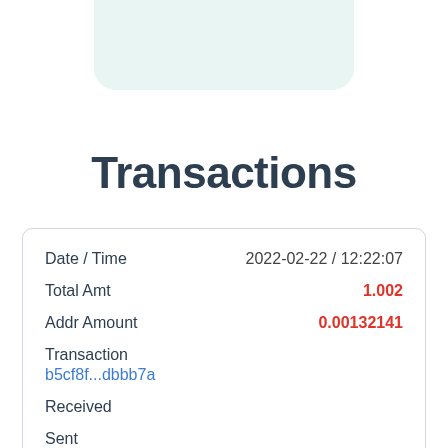[Figure (other): Light teal/mint rounded rectangle card at top of page]
Transactions
| Date / Time | 2022-02-22 / 12:22:07 |
| Total Amt | 1.002 |
| Addr Amount | 0.00132141 |
| Transaction | b5cf8f...dbbb7a |
| Received |  |
| Sent | bc1qm3...j77s3h
bc1qnx...swmcdk |